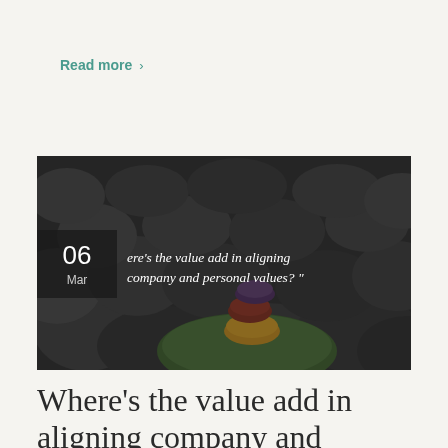Read more >
[Figure (photo): Stack of colorful smooth stones/pebbles on a dark rocky beach background, with a date overlay showing '06 Mar' and an italic quote: 'ere's the value add in aligning company and personal values? "']
Where's the value add in aligning company and personal values?